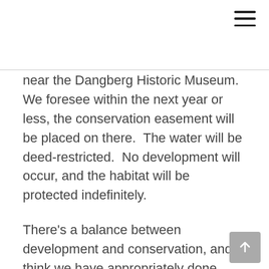near the Dangberg Historic Museum.  We foresee within the next year or less, the conservation easement will be placed on there.  The water will be deed-restricted.  No development will occur, and the habitat will be protected indefinitely.
There's a balance between development and conservation, and I think we have appropriately done some good planning.  As part of my heritage and my ancestors', we want to continue that and see that agricultural stays alive in this Valley.  However, allowing the